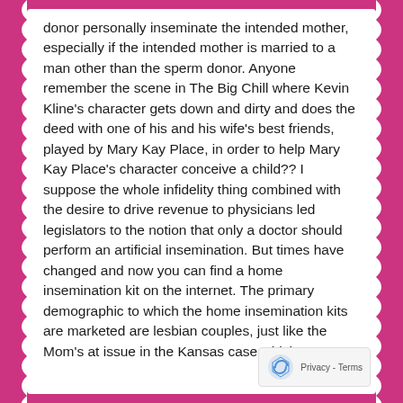donor personally inseminate the intended mother, especially if the intended mother is married to a man other than the sperm donor.  Anyone remember the scene in The Big Chill where Kevin Kline's character gets down and dirty and does the deed with one of his and his wife's best friends, played by Mary Kay Place, in order to help Mary Kay Place's character conceive a child??  I suppose the whole infidelity thing combined with the desire to drive revenue to physicians led legislators to the notion that only a doctor should perform an artificial insemination.  But times have changed and now you can find a home insemination kit on the internet.  The primary demographic to which the home insemination kits are marketed are lesbian couples, just like the Mom's at issue in the Kansas case which we